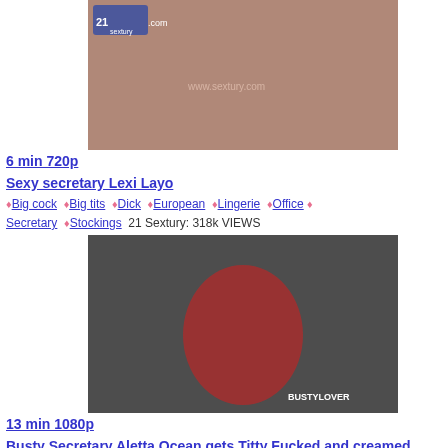[Figure (photo): Thumbnail of adult video 1 - Sexy secretary Lexi Layo]
6 min 720p
Sexy secretary Lexi Layo
Big cock Big tits Dick European Lingerie Office Secretary Stockings 21 Sextury: 318k VIEWS
[Figure (photo): Thumbnail of adult video 2 - Busty Secretary Aletta Ocean gets Titty Fucked and creamed]
13 min 1080p
Busty Secretary Aletta Ocean gets Titty Fucked and creamed
Big tits Blowjob Bus Busty European Hardcore Milf Office Busty Lover: 4M VIEWS